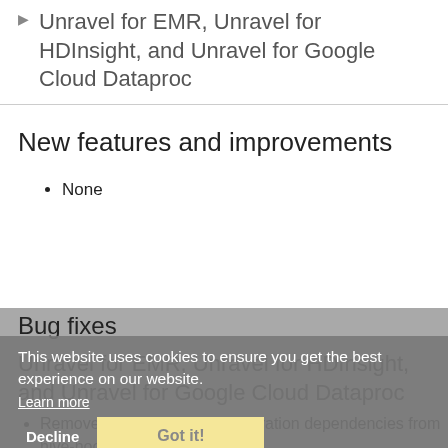Unravel for EMR, Unravel for HDInsight, and Unravel for Google Cloud Dataproc
New features and improvements
None
Bug fixes
Unravel for EMR, Unravel for HDInsight, and Unravel for Google Cloud Dataproc
Removed unnecessary configuration dependencies from hive-hook pom. (PLATFORM-1070, PLATFORM-2021)
This website uses cookies to ensure you get the best experience on our website.